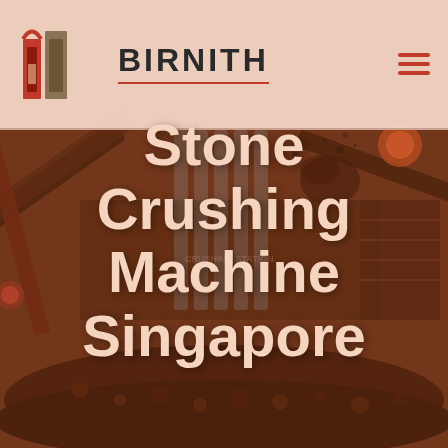BIRNITH
[Figure (photo): Stone crushing machine / industrial crushing station equipment with conveyor belts and aggregate piles, shown with a warm reddish-brown overlay tone]
Stone Crushing Machine Singapore